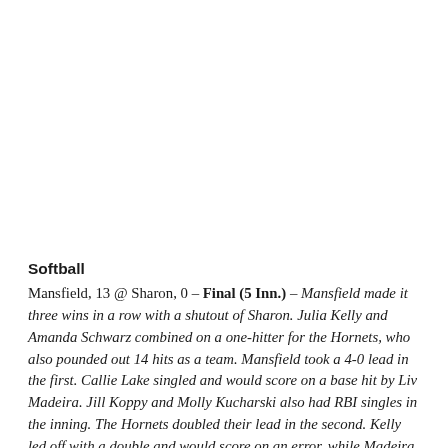Softball
Mansfield, 13 @ Sharon, 0 – Final (5 Inn.) – Mansfield made it three wins in a row with a shutout of Sharon. Julia Kelly and Amanda Schwarz combined on a one-hitter for the Hornets, who also pounded out 14 hits as a team. Mansfield took a 4-0 lead in the first. Callie Lake singled and would score on a base hit by Liv Madeira. Jill Koppy and Molly Kucharski also had RBI singles in the inning. The Hornets doubled their lead in the second. Kelly led off with a double and would score on an error, while Madeira and